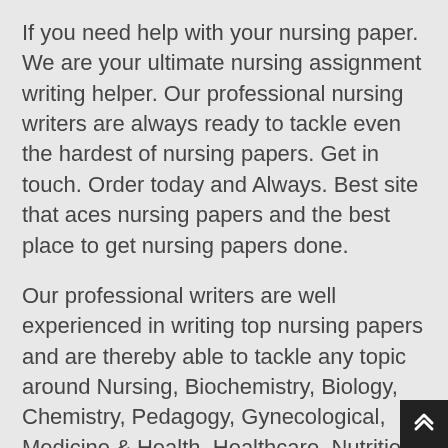If you need help with your nursing paper. We are your ultimate nursing assignment writing helper. Our professional nursing writers are always ready to tackle even the hardest of nursing papers. Get in touch. Order today and Always. Best site that aces nursing papers and the best place to get nursing papers done.
Our professional writers are well experienced in writing top nursing papers and are thereby able to tackle any topic around Nursing, Biochemistry, Biology, Chemistry, Pedagogy, Gynecological, Medicine & Health, Healthcare, Nutrition, or Pharmacology.
We guarantee customer satisfaction to all our clients.